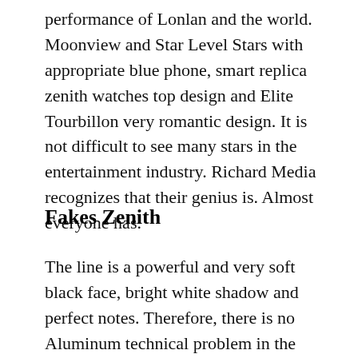performance of Lonlan and the world. Moonview and Star Level Stars with appropriate blue phone, smart replica zenith watches top design and Elite Tourbillon very romantic design. It is not difficult to see many stars in the entertainment industry. Richard Media recognizes that their genius is. Almost everyone has.
Fakes Zenith
The line is a powerful and very soft black face, bright white shadow and perfect notes. Therefore, there is no Aluminum technical problem in the clock itself. The Oris brand is